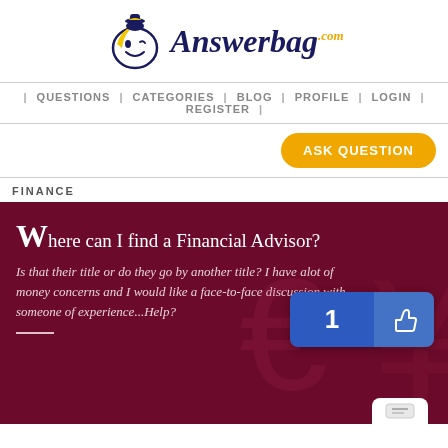[Figure (logo): Answerbag.com logo with smiling bag character and stylized text]
| QUESTIONS | CATEGORIES | BLOG | PROFILE | LOGIN | REGISTER |
ASK QUESTION
FINANCE
Where can I find a Financial Advisor?
Is that their title or do they go by another title? I have alot of money concerns and I would like a face-to-face discussion with someone of experience...Help?